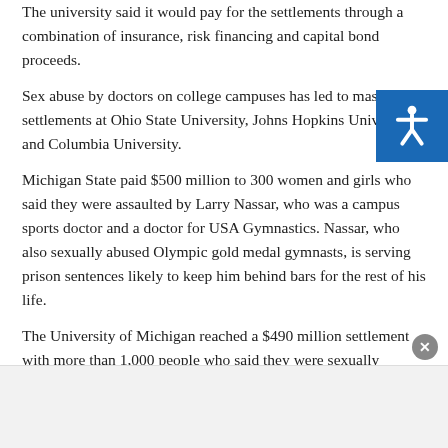The university said it would pay for the settlements through a combination of insurance, risk financing and capital bond proceeds.
Sex abuse by doctors on college campuses has led to massive settlements at Ohio State University, Johns Hopkins University and Columbia University.
Michigan State paid $500 million to 300 women and girls who said they were assaulted by Larry Nassar, who was a campus sports doctor and a doctor for USA Gymnastics. Nassar, who also sexually abused Olympic gold medal gymnasts, is serving prison sentences likely to keep him behind bars for the rest of his life.
The University of Michigan reached a $490 million settlement with more than 1,000 people who said they were sexually